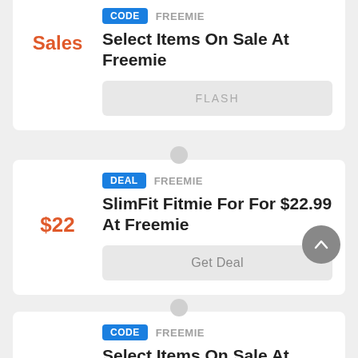CODE  FREEMIE
Select Items On Sale At Freemie
Sales
FLASH
DEAL  FREEMIE
SlimFit Fitmie For For $22.99 At Freemie
$22
Get Deal
CODE  FREEMIE
Select Items On Sale At Freemie